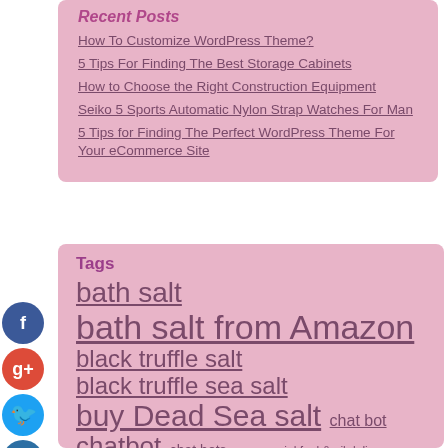Recent Posts
How To Customize WordPress Theme?
5 Tips For Finding The Best Storage Cabinets
How to Choose the Right Construction Equipment
Seiko 5 Sports Automatic Nylon Strap Watches For Man
5 Tips for Finding The Perfect WordPress Theme For Your eCommerce Site
Tags
bath salt bath salt from Amazon black truffle salt black truffle sea salt buy Dead Sea salt chat bot chatbot chat bots commercial fuel & oil delivery Dead Sea salt...